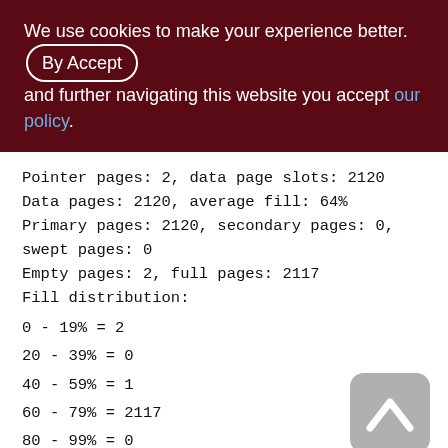We use cookies to make your experience better. By Accepting and further navigating this website you accept our policy.
Pointer pages: 2, data page slots: 2120
Data pages: 2120, average fill: 64%
Primary pages: 2120, secondary pages: 0, swept pages: 0
Empty pages: 2, full pages: 2117
Fill distribution:
0 - 19% = 2
20 - 39% = 0
40 - 59% = 1
60 - 79% = 2117
80 - 99% = 0